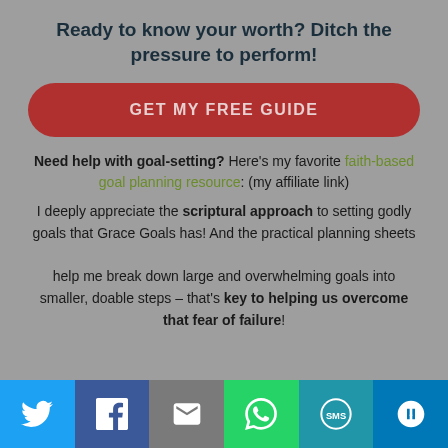Ready to know your worth? Ditch the pressure to perform!
GET MY FREE GUIDE
Need help with goal-setting? Here's my favorite faith-based goal planning resource: (my affiliate link)
I deeply appreciate the scriptural approach to setting godly goals that Grace Goals has! And the practical planning sheets help me break down large and overwhelming goals into smaller, doable steps – that's key to helping us overcome that fear of failure!
[Figure (infographic): Social share bar with Twitter, Facebook, Email, WhatsApp, SMS, and More buttons]